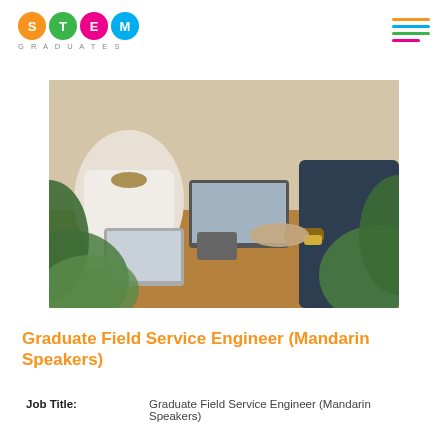[Figure (logo): STEM Graduates logo with four coloured circles (S=orange, T=green, E=pink, M=blue) and 'GRADUATES' text below]
[Figure (photo): Two people meeting outdoors at a wooden table with laptops and a tablet, green foliage in foreground]
Graduate Field Service Engineer (Mandarin Speakers)
| Job Title: |  |
| --- | --- |
| Job Title: | Graduate Field Service Engineer (Mandarin Speakers) |